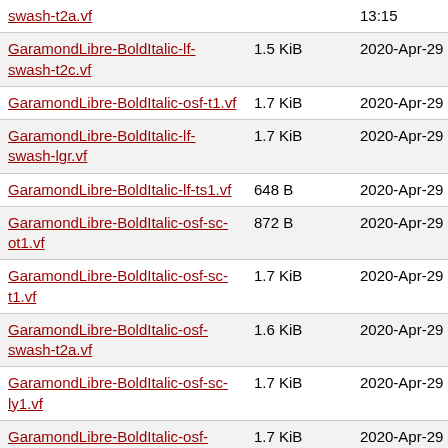| Filename | Size | Date |
| --- | --- | --- |
| swash-t2a.vf |  | 13:15 |
| GaramondLibre-BoldItalic-lf-swash-t2c.vf | 1.5 KiB | 2020-Apr-29 13:15 |
| GaramondLibre-BoldItalic-osf-t1.vf | 1.7 KiB | 2020-Apr-29 13:15 |
| GaramondLibre-BoldItalic-lf-swash-lgr.vf | 1.7 KiB | 2020-Apr-29 13:15 |
| GaramondLibre-BoldItalic-lf-ts1.vf | 648 B | 2020-Apr-29 13:15 |
| GaramondLibre-BoldItalic-osf-sc-ot1.vf | 872 B | 2020-Apr-29 13:15 |
| GaramondLibre-BoldItalic-osf-sc-t1.vf | 1.7 KiB | 2020-Apr-29 13:15 |
| GaramondLibre-BoldItalic-osf-swash-t2a.vf | 1.6 KiB | 2020-Apr-29 13:15 |
| GaramondLibre-BoldItalic-osf-sc-ly1.vf | 1.7 KiB | 2020-Apr-29 13:15 |
| GaramondLibre-BoldItalic-osf-swash-t1.vf | 1.7 KiB | 2020-Apr-29 13:15 |
| GaramondLibre-BoldItalic-osf-swash-ot1.vf | 1.0 KiB | 2020-Apr-29 13:15 |
| GaramondLibre-BoldItalic-osf- | 1.5 KiB | 2020-Apr-29 |